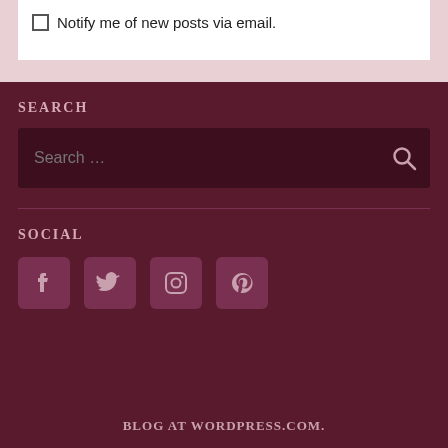Notify me of new posts via email.
SEARCH
Search …
SOCIAL
[Figure (other): Social media icons: Facebook, Twitter, Instagram, Pinterest]
BLOG AT WORDPRESS.COM.